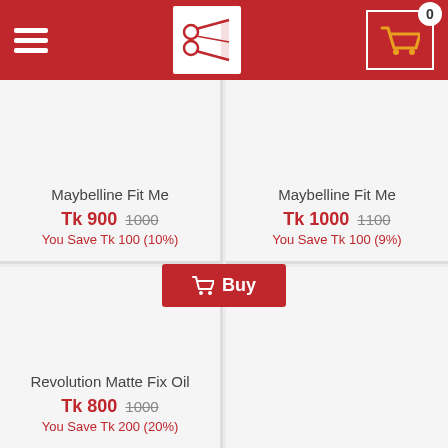Navigation bar with hamburger menu, logo, and cart (0 items)
Maybelline Fit Me
Tk 900  1000
You Save Tk 100 (10%)
Maybelline Fit Me
Tk 1000  1100
You Save Tk 100 (9%)
[Figure (screenshot): Buy button with shopping cart icon]
Revolution Matte Fix Oil
Tk 800  1000
You Save Tk 200 (20%)